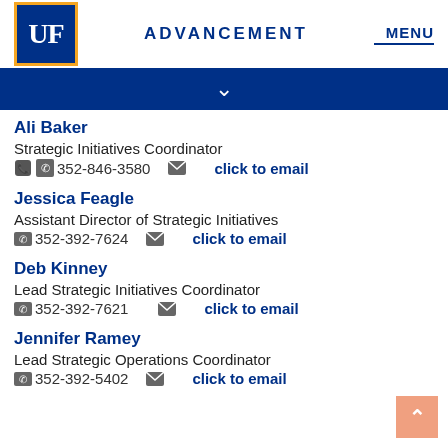UF ADVANCEMENT MENU
Ali Baker
Strategic Initiatives Coordinator
352-846-3580  click to email
Jessica Feagle
Assistant Director of Strategic Initiatives
352-392-7624  click to email
Deb Kinney
Lead Strategic Initiatives Coordinator
352-392-7621  click to email
Jennifer Ramey
Lead Strategic Operations Coordinator
352-392-5402  click to email